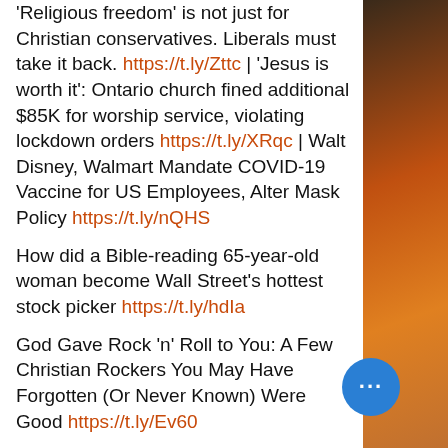'Religious freedom' is not just for Christian conservatives. Liberals must take it back. https://t.ly/Zttc | 'Jesus is worth it': Ontario church fined additional $85K for worship service, violating lockdown orders https://t.ly/XRqc | Walt Disney, Walmart Mandate COVID-19 Vaccine for US Employees, Alter Mask Policy https://t.ly/nQHS
How did a Bible-reading 65-year-old woman become Wall Street's hottest stock picker https://t.ly/hdIa
God Gave Rock 'n' Roll to You: A Few Christian Rockers You May Have Forgotten (Or Never Known) Were Good https://t.ly/Ev60
[Figure (photo): Decorative sidebar image with warm orange and brown bokeh tones on the right side of the page]